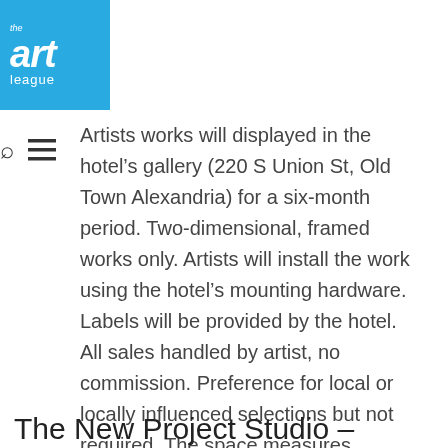the art league
Artists works will displayed in the hotel’s gallery (220 S Union St, Old Town Alexandria) for a six-month period. Two-dimensional, framed works only. Artists will install the work using the hotel’s mounting hardware. Labels will be provided by the hotel. All sales handled by artist, no commission. Preference for local or locally influenced selections but not required. The space measures approximately 7’10” by 8’3.” If interested, contact Kate Ellis, General Manager, kate.ellis@ihg.com.
The New Project Studio –